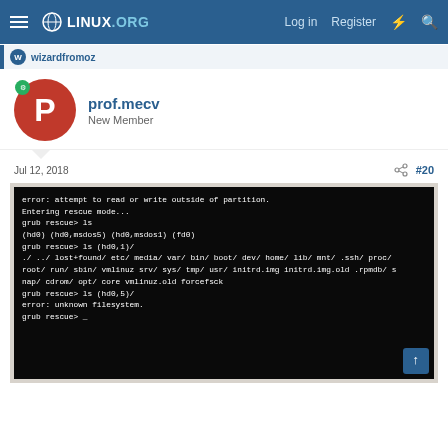LINUX.ORG — Log in  Register
wizardfromoz
prof.mecv
New Member
Jul 12, 2018  #20
[Figure (screenshot): Terminal screenshot showing grub rescue mode with commands: error: attempt to read or write outside of partition. Entering rescue mode... grub rescue> ls (hd0) (hd0,msdos5) (hd0,msdos1) (fd0) grub rescue> ls (hd0,1)/ ./ ../ lost+found/ etc/ media/ var/ bin/ boot/ dev/ home/ lib/ mnt/ .ssh/ proc/ root/ run/ sbin/ vmlinuz srv/ sys/ tmp/ usr/ initrd.img initrd.img.old .rpmdb/ snap/ cdrom/ opt/ core vmlinuz.old forcefsck grub rescue> ls (hd0,5)/ error: unknown filesystem. grub rescue> _]